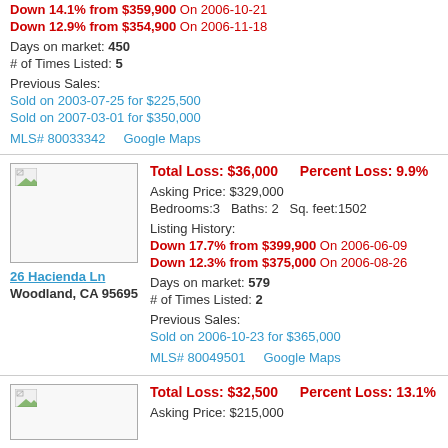Down 14.1% from $359,900 On 2006-10-21
Down 12.9% from $354,900 On 2006-11-18
Days on market: 450
# of Times Listed: 5
Previous Sales:
Sold on 2003-07-25 for $225,500
Sold on 2007-03-01 for $350,000
MLS# 80033342    Google Maps
[Figure (photo): Property thumbnail image placeholder]
Total Loss: $36,000    Percent Loss: 9.9%
Asking Price: $329,000
Bedrooms:3    Baths: 2    Sq. feet:1502
Listing History:
Down 17.7% from $399,900 On 2006-06-09
Down 12.3% from $375,000 On 2006-08-26
Days on market: 579
# of Times Listed: 2
Previous Sales:
Sold on 2006-10-23 for $365,000
MLS# 80049501    Google Maps
26 Hacienda Ln
Woodland, CA 95695
[Figure (photo): Property thumbnail image placeholder]
Total Loss: $32,500    Percent Loss: 13.1%
Asking Price: $215,000